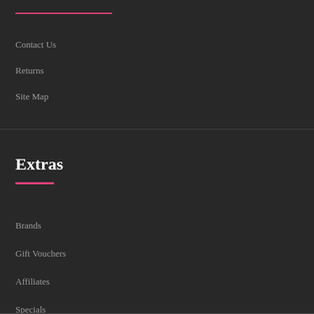Contact Us
Returns
Site Map
Extras
Brands
Gift Vouchers
Affiliates
Specials